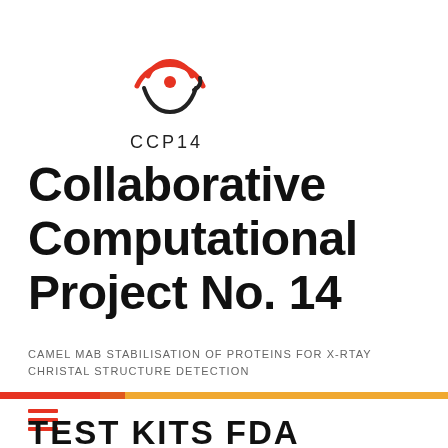[Figure (logo): CCP14 logo: stylized concentric arcs in red above, dark arc below, with a red dot center]
CCP14
Collaborative Computational Project No. 14
CAMEL MAB STABILISATION OF PROTEINS FOR X-RTAY CHRISTAL STRUCTURE DETECTION
[Figure (illustration): Horizontal color bar: red, orange, yellow segments]
[Figure (illustration): Hamburger menu icon with three red horizontal lines]
TEST KITS FDA